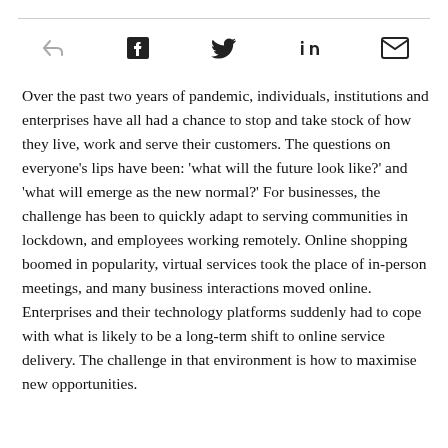[Figure (infographic): Social sharing icon bar with share/forward, Facebook, Twitter, LinkedIn, and email icons]
Over the past two years of pandemic, individuals, institutions and enterprises have all had a chance to stop and take stock of how they live, work and serve their customers. The questions on everyone's lips have been: 'what will the future look like?' and 'what will emerge as the new normal?' For businesses, the challenge has been to quickly adapt to serving communities in lockdown, and employees working remotely. Online shopping boomed in popularity, virtual services took the place of in-person meetings, and many business interactions moved online. Enterprises and their technology platforms suddenly had to cope with what is likely to be a long-term shift to online service delivery. The challenge in that environment is how to maximise new opportunities.